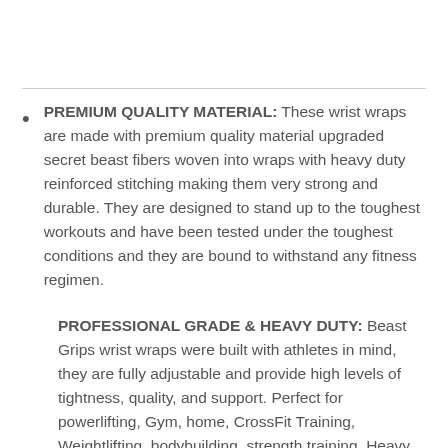PREMIUM QUALITY MATERIAL: These wrist wraps are made with premium quality material upgraded secret beast fibers woven into wraps with heavy duty reinforced stitching making them very strong and durable. They are designed to stand up to the toughest workouts and have been tested under the toughest conditions and they are bound to withstand any fitness regimen.
PROFESSIONAL GRADE & HEAVY DUTY: Beast Grips wrist wraps were built with athletes in mind, they are fully adjustable and provide high levels of tightness, quality, and support. Perfect for powerlifting, Gym, home, CrossFit Training, Weightlifting, bodybuilding, strength training, Heavy Fitness Workouts, or other type of